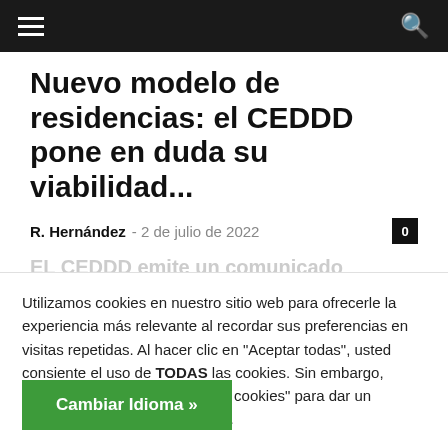≡   🔍
Nuevo modelo de residencias: el CEDDD pone en duda su viabilidad...
R. Hernández  -  2 de julio de 2022   0
EL CEDDD emite un comunicado
Utilizamos cookies en nuestro sitio web para ofrecerle la experiencia más relevante al recordar sus preferencias en visitas repetidas. Al hacer clic en "Aceptar todas", usted consiente el uso de TODAS las cookies. Sin embargo, puede visitar "Configuración de cookies" para dar un consentimiento más controlado.
Configuración de cookies
Aceptar todas
Cambiar Idioma »